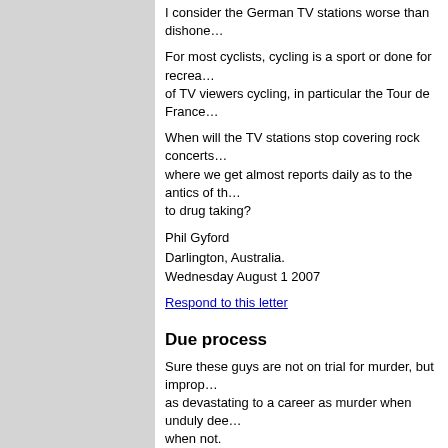I consider the German TV stations worse than dishone…
For most cyclists, cycling is a sport or done for recrea… of TV viewers cycling, in particular the Tour de France…
When will the TV stations stop covering rock concerts… where we get almost reports daily as to the antics of th… to drug taking?
Phil Gyford
Darlington, Australia.
Wednesday August 1 2007
Respond to this letter
Due process
Sure these guys are not on trial for murder, but improp… as devastating to a career as murder when unduly dee… when not.
Due process is very important and protects the rights… most to lose. Just the issue of improper chain of custo… thrown out Landis' Stage 17 sample in any other analy… cycling. Talk about lack of due process!
Judson
Greenville, USA
Friday July 27 2007
Respond to this letter